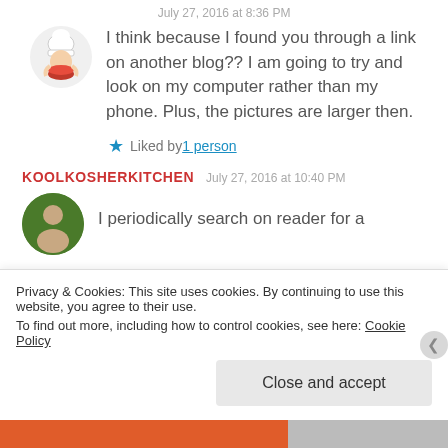July 27, 2016 at 8:36 PM
I think because I found you through a link on another blog?? I am going to try and look on my computer rather than my phone. Plus, the pictures are larger then.
★ Liked by 1 person
KOOLKOSHERKITCHEN   July 27, 2016 at 10:40 PM
I periodically search on reader for a
Privacy & Cookies: This site uses cookies. By continuing to use this website, you agree to their use.
To find out more, including how to control cookies, see here: Cookie Policy
Close and accept